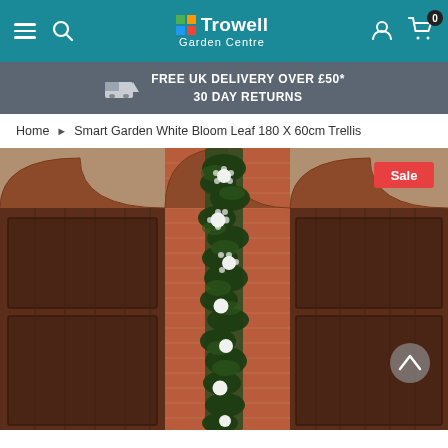Trowell Garden Centre — navigation bar with hamburger menu, search, logo, account, and cart icons
FREE UK DELIVERY OVER £50* 30 DAY RETURNS
Home > Smart Garden White Bloom Leaf 180 X 60cm Trellis
[Figure (photo): Product photo of a Smart Garden White Bloom Leaf 180x60cm Trellis mounted on a brick wall between two dark wooden barn doors, showing green leaves with white flower blooms. A red 'Sale' badge is in the upper right corner and a grey scroll-up button is in the lower right corner.]